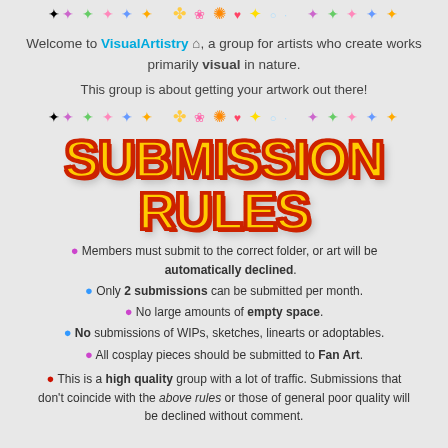[Figure (illustration): Decorative row of colorful pixel/emoji stars and flowers in purple, green, pink, blue, orange colors, with a central cluster of pixel art icons]
Welcome to VisualArtistry [home icon], a group for artists who create works primarily visual in nature.
This group is about getting your artwork out there!
[Figure (illustration): Second decorative row of colorful pixel/emoji stars and flowers, same as top row]
SUBMISSION RULES
Members must submit to the correct folder, or art will be automatically declined.
Only 2 submissions can be submitted per month.
No large amounts of empty space.
No submissions of WIPs, sketches, linearts or adoptables.
All cosplay pieces should be submitted to Fan Art.
This is a high quality group with a lot of traffic. Submissions that don't coincide with the above rules or those of general poor quality will be declined without comment.